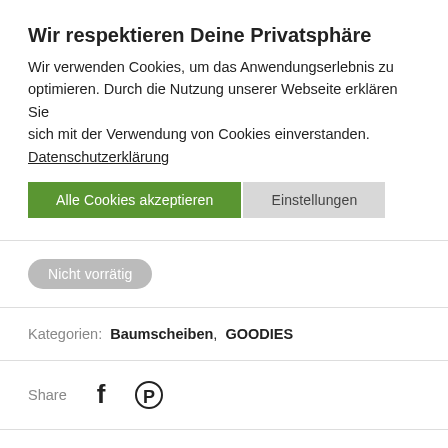Wir respektieren Deine Privatsphäre
Wir verwenden Cookies, um das Anwendungserlebnis zu optimieren. Durch die Nutzung unserer Webseite erklären Sie sich mit der Verwendung von Cookies einverstanden. Datenschutzerklärung
Alle Cookies akzeptieren | Einstellungen
Nicht vorrätig
Kategorien: Baumscheiben, GOODIES
Share